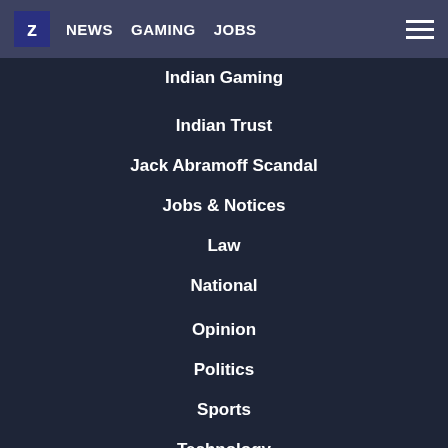Z NEWS GAMING JOBS
Indian Gaming
Indian Trust
Jack Abramoff Scandal
Jobs & Notices
Law
National
Opinion
Politics
Sports
Technology